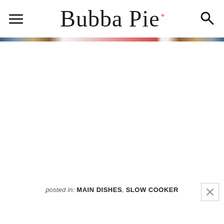Bubba Pie
posted in: MAIN DISHES, SLOW COOKER